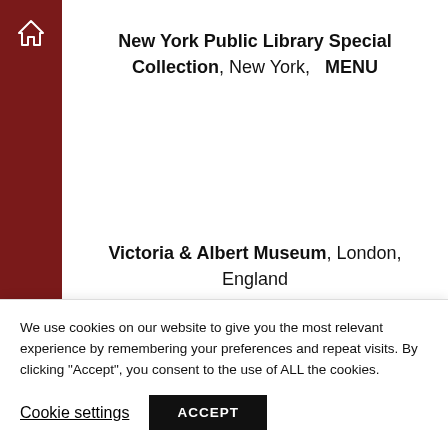New York Public Library Special Collection, New York,   MENU
Victoria & Albert Museum, London, England
[Figure (photo): Abstract colorful artwork strip showing sections of teal, blue, purple, and orange shapes on a purple/magenta background]
We use cookies on our website to give you the most relevant experience by remembering your preferences and repeat visits. By clicking “Accept”, you consent to the use of ALL the cookies.
Cookie settings  ACCEPT